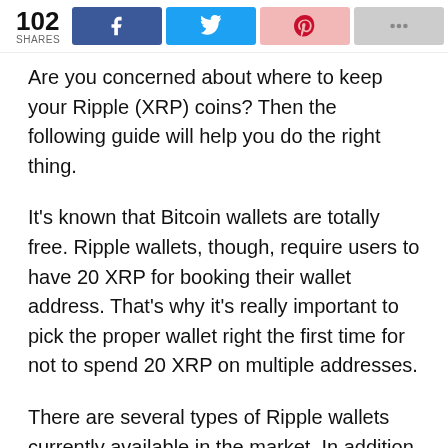102 SHARES [social share buttons: Facebook, Twitter, Pinterest, Other]
Are you concerned about where to keep your Ripple (XRP) coins? Then the following guide will help you do the right thing.
It's known that Bitcoin wallets are totally free. Ripple wallets, though, require users to have 20 XRP for booking their wallet address. That's why it's really important to pick the proper wallet right the first time for not to spend 20 XRP on multiple addresses.
There are several types of Ripple wallets currently available in the market. In addition, lots of exchanges offer to buy and to store Ripple on their exchange. Nevertheless, it would not be a good decision to keep your XRP on an exchange, because your coins would